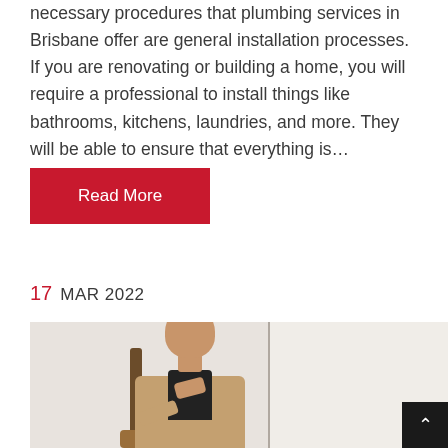necessary procedures that plumbing services in Brisbane offer are general installation processes. If you are renovating or building a home, you will require a professional to install things like bathrooms, kitchens, laundries, and more. They will be able to ensure that everything is...
Read More
17 MAR 2022
[Figure (photo): A woman with her hair up, wearing a beige blazer over a black turtleneck, sitting in a wooden chair with her hands clasped near her chin, against a white wall with a vertical dark panel on the right side.]